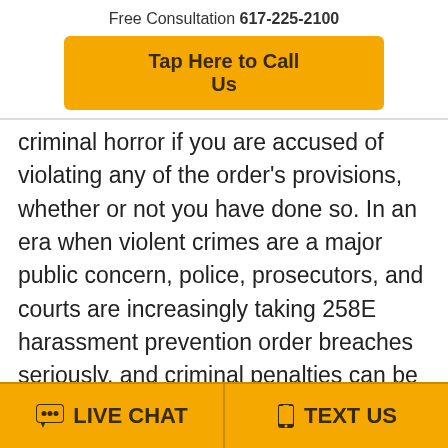Free Consultation 617-225-2100
Tap Here to Call Us
criminal horror if you are accused of violating any of the order's provisions, whether or not you have done so. In an era when violent crimes are a major public concern, police, prosecutors, and courts are increasingly taking 258E harassment prevention order breaches seriously, and criminal penalties can be fast and harsh. Furthermore, a criminal record of alleged violence can be damaging to one's general reputation, as well as current and future employment prospects, current
LIVE CHAT   TEXT US